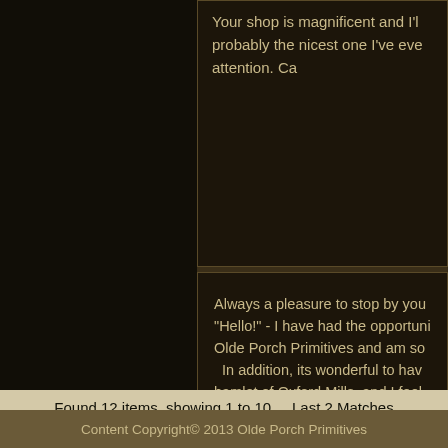Your shop is magnificent and I'll probably the nicest one I've ever attention. Ca
Always a pleasure to stop by your "Hello!" - I have had the opportuni Olde Porch Primitives and am so In addition, its wonderful to have hamlet of Oxford Mills, and I feel s back in time almost, with the lovel I love the scents and overall fee spreading the word to friends an your store! Ps - I love the piece pl Claudia Sutton Be
Found 12 items, showing 1 to 10.    Last 2 Matches
Content Copyright© 2013 Olde Porch Primitives